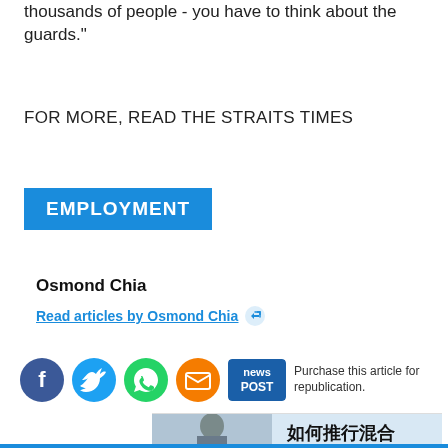thousands of people - you have to think about the guards."
FOR MORE, READ THE STRAITS TIMES
EMPLOYMENT
Osmond Chia
Read articles by Osmond Chia
[Figure (infographic): Social media sharing icons: Facebook (dark blue circle), Twitter (light blue circle), WhatsApp (green circle), Email (orange circle), newsPost button (dark blue rectangle). Text: Purchase this article for republication.]
[Figure (photo): Advertisement banner showing a woman with Chinese text 如何推行混合]